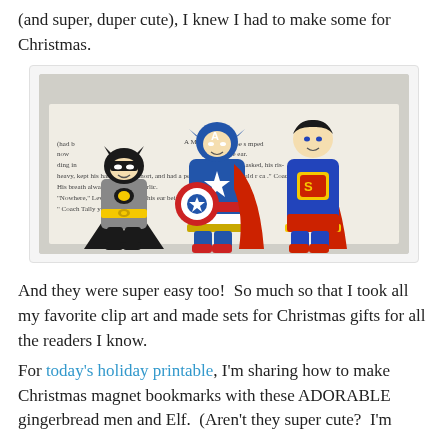(and super, duper cute), I knew I had to make some for Christmas.
[Figure (photo): Photo of three superhero character bookmarks (Batman, Captain America, Superman) placed on top of an open book page.]
And they were super easy too!  So much so that I took all my favorite clip art and made sets for Christmas gifts for all the readers I know.
For today's holiday printable, I'm sharing how to make Christmas magnet bookmarks with these ADORABLE gingerbread men and Elf.  (Aren't they super cute?  I'm